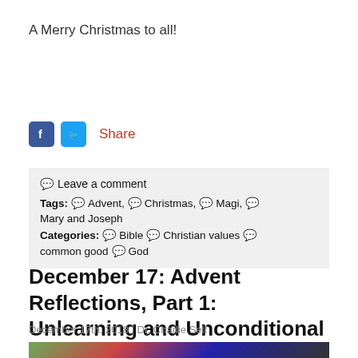A Merry Christmas to all!
[Figure (other): Social sharing bar with Facebook and Twitter icon buttons, and a Share text link in red/orange]
💬 Leave a comment
Tags: 💬 Advent, 💬 Christmas, 💬 Magi, 💬 Mary and Joseph
Categories: 💬 Bible 💬 Christian values 💬 common good 💬 God
December 17: Advent Reflections, Part 1: Unlearning and Unconditional Love
December 17th, 2018 | Dr. Charlie Self
[Figure (illustration): Partial view of a colorful illustrated image at the bottom of the page]